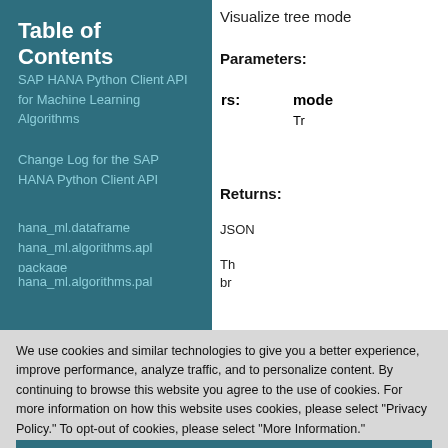Table of Contents
SAP HANA Python Client API for Machine Learning Algorithms
Change Log for the SAP HANA Python Client API
hana_ml.dataframe
hana_ml.algorithms.apl package
hana_ml.algorithms.pal
Visualize tree mode
Parameters: model: Tr
Returns: JSON Th br
We use cookies and similar technologies to give you a better experience, improve performance, analyze traffic, and to personalize content. By continuing to browse this website you agree to the use of cookies. For more information on how this website uses cookies, please select "Privacy Policy." To opt-out of cookies, please select "More Information."
Accept Cookies
More Information
Privacy Policy | Powered by: TrustArc
hana_ml.algorithms.pal
br